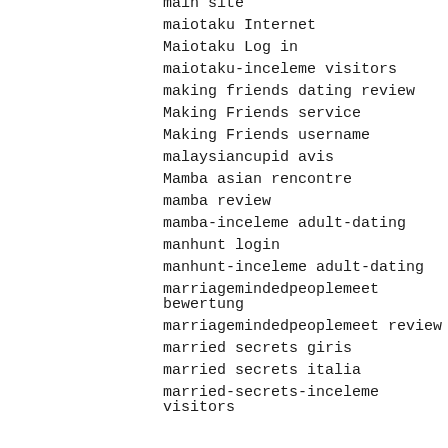main site
maiotaku Internet
Maiotaku Log in
maiotaku-inceleme visitors
making friends dating review
Making Friends service
Making Friends username
malaysiancupid avis
Mamba asian rencontre
mamba review
mamba-inceleme adult-dating
manhunt login
manhunt-inceleme adult-dating
marriagemindedpeoplemeet bewertung
marriagemindedpeoplemeet review
married secrets giris
married secrets italia
married-secrets-inceleme visitors